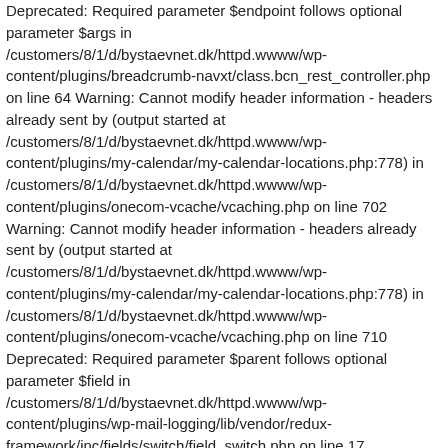Deprecated: Required parameter $endpoint follows optional parameter $args in /customers/8/1/d/bystaevnet.dk/httpd.wwww/wp-content/plugins/breadcrumb-navxt/class.bcn_rest_controller.php on line 64 Warning: Cannot modify header information - headers already sent by (output started at /customers/8/1/d/bystaevnet.dk/httpd.wwww/wp-content/plugins/my-calendar/my-calendar-locations.php:778) in /customers/8/1/d/bystaevnet.dk/httpd.wwww/wp-content/plugins/onecom-vcache/vcaching.php on line 702 Warning: Cannot modify header information - headers already sent by (output started at /customers/8/1/d/bystaevnet.dk/httpd.wwww/wp-content/plugins/my-calendar/my-calendar-locations.php:778) in /customers/8/1/d/bystaevnet.dk/httpd.wwww/wp-content/plugins/onecom-vcache/vcaching.php on line 710 Deprecated: Required parameter $parent follows optional parameter $field in /customers/8/1/d/bystaevnet.dk/httpd.wwww/wp-content/plugins/wp-mail-logging/lib/vendor/redux-framework/inc/fields/switch/field_switch.php on line 17 Deprecated: Required parameter $parent follows optional parameter $field in /customers/8/1/d/bystaevnet.dk/httpd.wwww/wp-content/plugins/wp-mail-logging/lib/vendor/redux-framework/inc/fields/select/field_select.php on line 17 Deprecated: Required parameter $parent follows optional parameter $field in /customers/8/1/d/bystaevnet.dk/httpd.wwww/wp-content/plugins/wp-mail-logging/lib/vendor/redux-